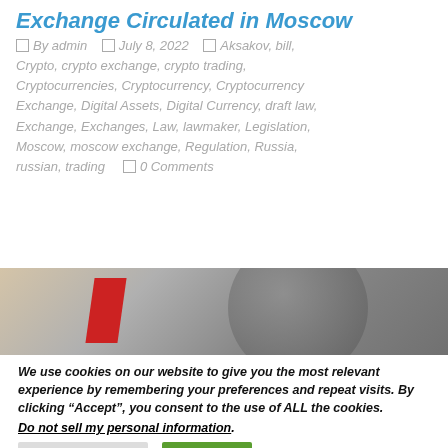Exchange Circulated in Moscow
By admin   July 8, 2022   Aksakov, bill, Crypto, crypto exchange, crypto trading, Cryptocurrencies, Cryptocurrency, Cryptocurrency Exchange, Digital Assets, Digital Currency, draft law, Exchange, Exchanges, Law, lawmaker, Legislation, Moscow, moscow exchange, Regulation, Russia, russian, trading   0 Comments
[Figure (photo): Partial image showing a red shape and circular gray object, likely related to a crypto exchange or financial market visual]
We use cookies on our website to give you the most relevant experience by remembering your preferences and repeat visits. By clicking “Accept”, you consent to the use of ALL the cookies.
Do not sell my personal information.